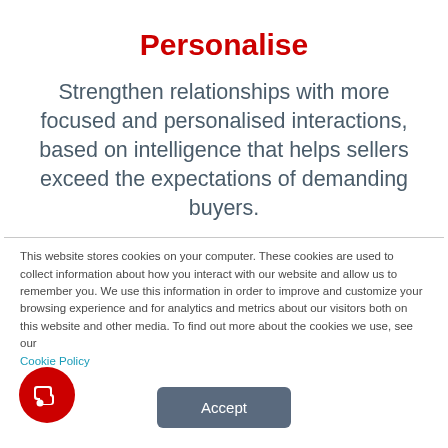Personalise
Strengthen relationships with more focused and personalised interactions, based on intelligence that helps sellers exceed the expectations of demanding buyers.
This website stores cookies on your computer. These cookies are used to collect information about how you interact with our website and allow us to remember you. We use this information in order to improve and customize your browsing experience and for analytics and metrics about our visitors both on this website and other media. To find out more about the cookies we use, see our Cookie Policy
Accept